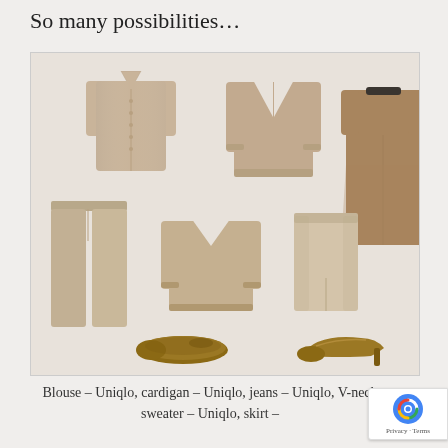So many possibilities…
[Figure (photo): A flatlay of coordinated neutral/tan/camel clothing items and shoes: a button-up blouse (Uniqlo), a V-neck cardigan (Uniqlo), a short-sleeve dress, slim pants (Uniqlo), a V-neck sweater (Uniqlo), a midi skirt, brown patterned flat ballet shoes, and tan kitten heel pumps. All items are in shades of beige, tan, and camel on a light beige background.]
Blouse – Uniqlo, cardigan – Uniqlo,  jeans – Uniqlo, V-neck sweater – Uniqlo, skirt –